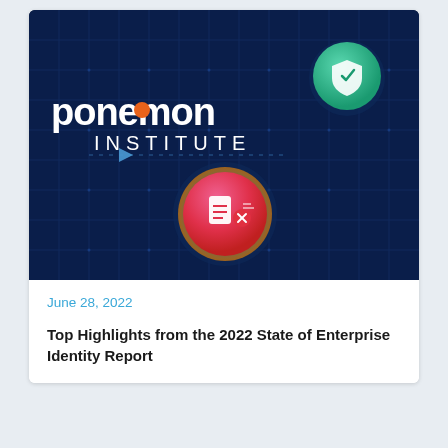[Figure (illustration): Ponemon Institute logo and branded image on dark navy blue circuit-board background with colorful icon orbs — a green shield icon orb upper right, and a pink/red document-with-X icon orb in the center-lower area. The logo text reads 'ponemon INSTITUTE' in white.]
June 28, 2022
Top Highlights from the 2022 State of Enterprise Identity Report